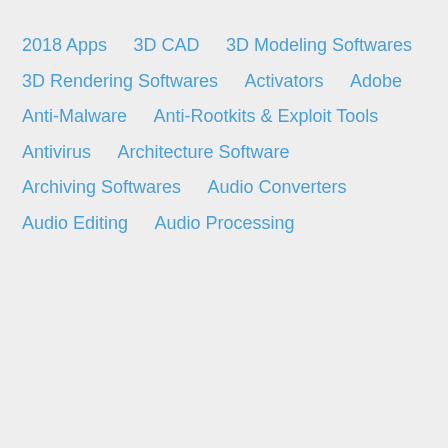2018 Apps
3D CAD
3D Modeling Softwares
3D Rendering Softwares
Activators
Adobe
Anti-Malware
Anti-Rootkits & Exploit Tools
Antivirus
Architecture Software
Archiving Softwares
Audio Converters
Audio Editing
Audio Processing